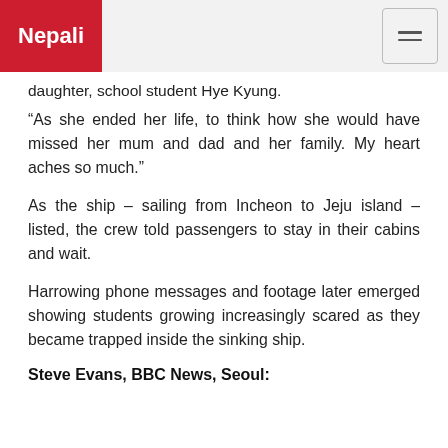Nepali
daughter, school student Hye Kyung.
“As she ended her life, to think how she would have missed her mum and dad and her family. My heart aches so much.”
As the ship – sailing from Incheon to Jeju island – listed, the crew told passengers to stay in their cabins and wait.
Harrowing phone messages and footage later emerged showing students growing increasingly scared as they became trapped inside the sinking ship.
Steve Evans, BBC News, Seoul: